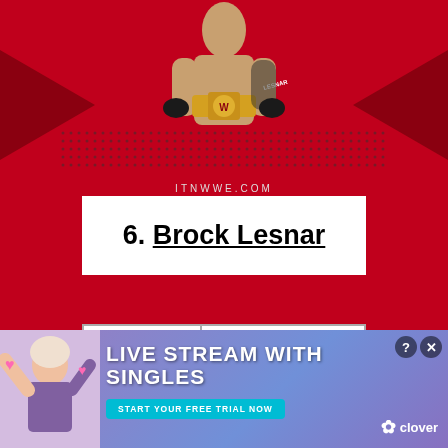[Figure (photo): Top banner with red background, WWE championship belt imagery, and Brock Lesnar silhouette. Website URL ITNWWE.COM shown at bottom of banner.]
6. Brock Lesnar
| DATE WON | November 2, 2018 |
| DATE LOST | April 7, 2019 |
Lesnar would win the Universal title for the
[Figure (infographic): Advertisement banner: LIVE STREAM WITH SINGLES - START YOUR FREE TRIAL NOW - Clover branding. Shows a woman with pink hearts.]